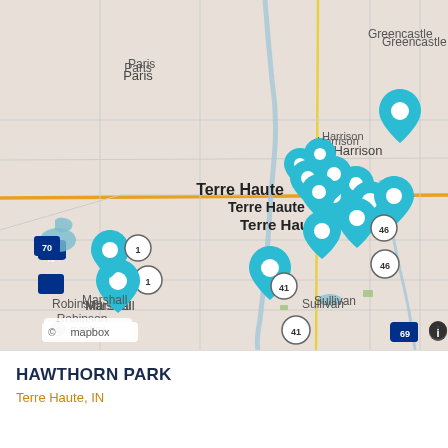[Figure (map): Mapbox map centered on Terre Haute, Indiana area showing multiple teal/cyan location pin markers. Visible place names include Paris, Harrison, Terre Haute, Marshall, Brazil, Greencastle, Sullivan, Linton, Bloomfield, Robinson. Roads including I-70, US-41, Route 46, Route 1, I-69 are visible. Several teal map pins are clustered around Terre Haute and scattered to the south and east.]
HAWTHORN PARK
Terre Haute, IN